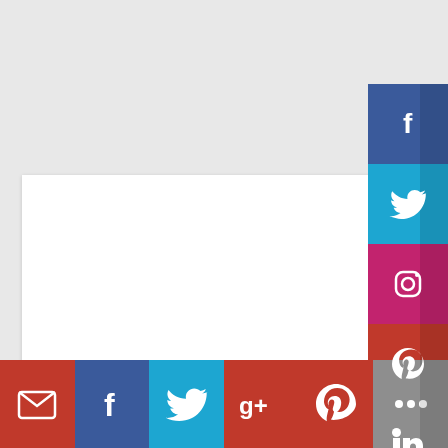[Figure (infographic): Social media sharing buttons UI mockup showing a white content area with a vertical stack of social media icon buttons on the right side (Facebook, Twitter, Instagram, Pinterest, LinkedIn, Google+) and a horizontal row of social sharing buttons at the bottom (Email, Facebook, Twitter, Google+, Pinterest, More).]